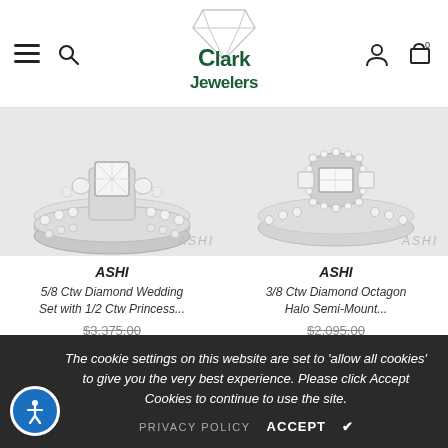Clark Jewelers
[Figure (photo): Diamond wedding ring set with princess cut center stone and channel set band - ASHI brand]
[Figure (photo): Diamond octagon halo semi-mount engagement ring with baguette center - ASHI brand]
ASHI
5/8 Ctw Diamond Wedding Set with 1/2 Ctw Princess...
$3,375.00
ASHI
3/8 Ctw Diamond Octagon Halo Semi-Mount...
$2,095.00
The cookie settings on this website are set to 'allow all cookies' to give you the very best experience. Please click Accept Cookies to continue to use the site.
PRIVACY POLICY   ACCEPT ✔